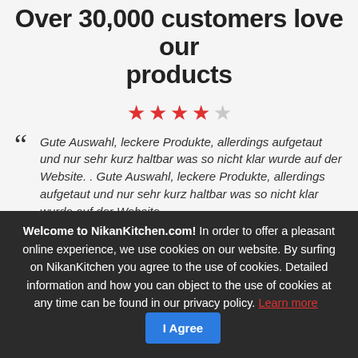Over 30,000 customers love our products
[Figure (other): 4 out of 5 star rating shown with red filled stars and one empty grey star]
Gute Auswahl, leckere Produkte, allerdings aufgetaut und nur sehr kurz haltbar was so nicht klar wurde auf der Website. . Gute Auswahl, leckere Produkte, allerdings aufgetaut und nur sehr kurz haltbar was so nicht klar wurde auf der Website.
Often bought together
Welcome to NikanKitchen.com! In order to offer a pleasant online experience, we use cookies on our website. By surfing on NikanKitchen you agree to the use of cookies. Detailed information and how you can object to the use of cookies at any time can be found in our privacy policy. Learn more  I Agree